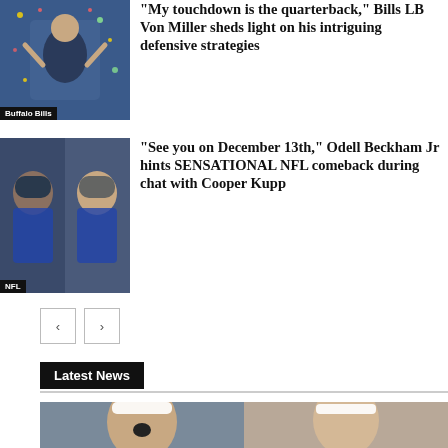[Figure (photo): Buffalo Bills player celebrating with confetti, labeled 'Buffalo Bills']
“My touchdown is the quarterback,” Bills LB Von Miller sheds light on his intriguing defensive strategies
[Figure (photo): Two NFL players side by side, labeled 'NFL', related to Odell Beckham Jr and Cooper Kupp]
“See you on December 13th,” Odell Beckham Jr hints SENSATIONAL NFL comeback during chat with Cooper Kupp
Latest News
[Figure (photo): Two female tennis players side by side, one with mouth open cheering, one looking composed]